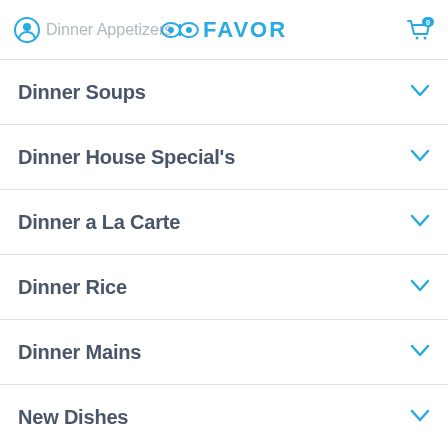Dinner Appetizers — FAVOR
Dinner Soups
Dinner House Special's
Dinner a La Carte
Dinner Rice
Dinner Mains
New Dishes